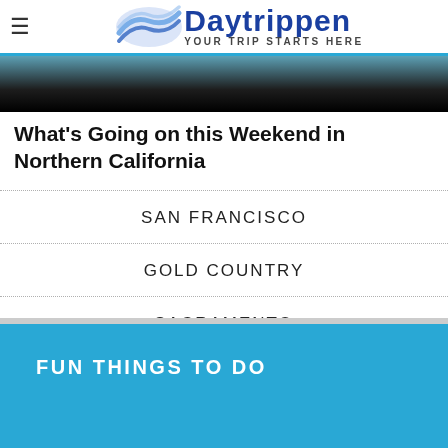Daytrippen — YOUR TRIP STARTS HERE
[Figure (photo): Partial photo strip showing people, cropped at top of page]
What's Going on this Weekend in Northern California
SAN FRANCISCO
GOLD COUNTRY
SACRAMENTO
CENTRAL VALLEY
FUN THINGS TO DO